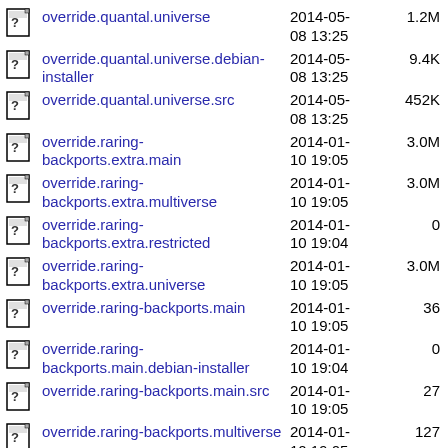override.quantal.universe  2014-05-08 13:25  1.2M
override.quantal.universe.debian-installer  2014-05-08 13:25  9.4K
override.quantal.universe.src  2014-05-08 13:25  452K
override.raring-backports.extra.main  2014-01-10 19:05  3.0M
override.raring-backports.extra.multiverse  2014-01-10 19:05  3.0M
override.raring-backports.extra.restricted  2014-01-10 19:04  0
override.raring-backports.extra.universe  2014-01-10 19:05  3.0M
override.raring-backports.main  2014-01-10 19:05  36
override.raring-backports.main.debian-installer  2014-01-10 19:04  0
override.raring-backports.main.src  2014-01-10 19:05  27
override.raring-backports.multiverse  2014-01-10 19:05  127